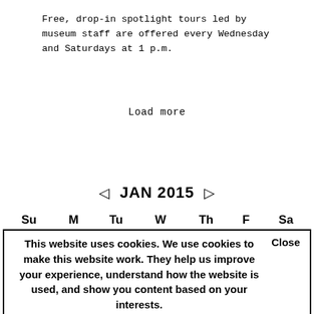Free, drop-in spotlight tours led by museum staff are offered every Wednesday and Saturdays at 1 p.m.
Load more
◁ JAN 2015 ▷
| Su | M | Tu | W | Th | F | Sa |
| --- | --- | --- | --- | --- | --- | --- |
This website uses cookies. We use cookies to make this website work. They help us improve your experience, understand how the website is used, and show you content based on your interests.  Close
| 10 | 12 | 12 | 13 | 14 | 00 | 01 |